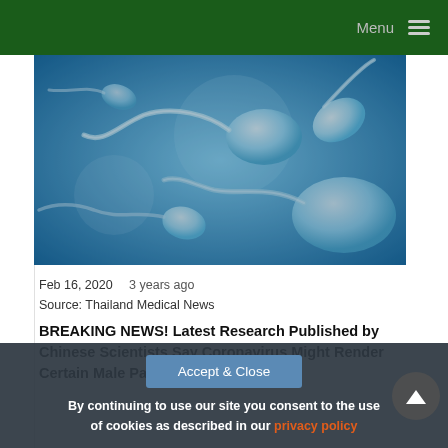Menu
[Figure (illustration): Microscopic illustration of sperm cells on a blue background, rendered in a 3D scientific style showing multiple sperm with tails.]
Feb 16, 2020  3 years ago
Source: Thailand Medical News
BREAKING NEWS! Latest Research Published by Chinese Scientists Say Coronavirus Might Render Certain Male Patients Infertile
By continuing to use our site you consent to the use of cookies as described in our privacy policy